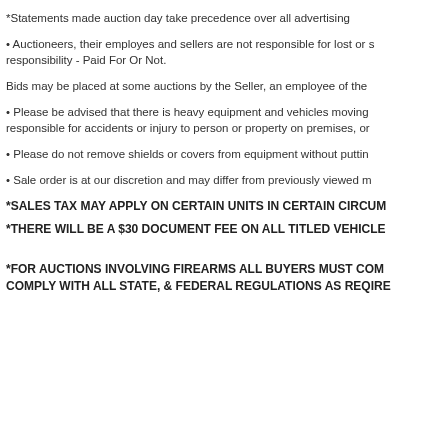*Statements made auction day take precedence over all advertising
• Auctioneers, their employes and sellers are not responsible for lost or s responsibility - Paid For Or Not.
Bids may be placed at some auctions by the Seller, an employee of the
• Please be advised that there is heavy equipment and vehicles moving responsible for accidents or injury to person or property on premises, or
• Please do not remove shields or covers from equipment without puttin
• Sale order is at our discretion and may differ from previously viewed m
*SALES TAX MAY APPLY ON CERTAIN UNITS IN CERTAIN CIRCUM
*THERE WILL BE A $30 DOCUMENT FEE ON ALL TITLED VEHICLE
*FOR AUCTIONS INVOLVING FIREARMS ALL BUYERS MUST COM COMPLY WITH ALL STATE, & FEDERAL REGULATIONS AS REQIRE